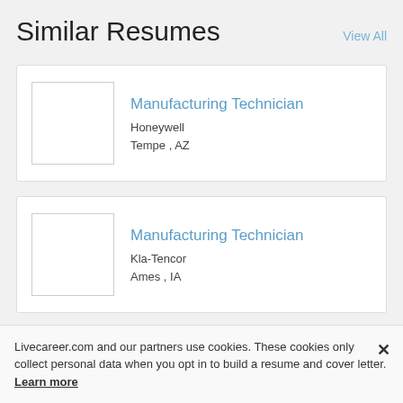Similar Resumes
View All
Manufacturing Technician
Honeywell
Tempe , AZ
Manufacturing Technician
Kla-Tencor
Ames , IA
Livecareer.com and our partners use cookies. These cookies only collect personal data when you opt in to build a resume and cover letter. Learn more